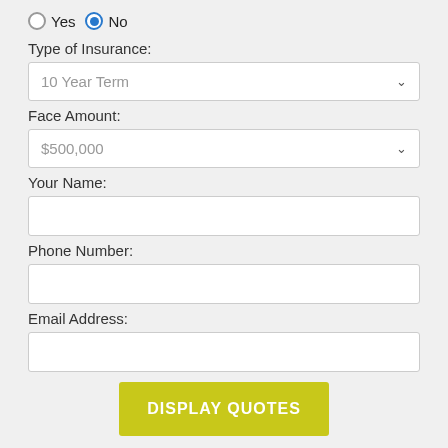Yes  No (radio buttons, No selected)
Type of Insurance:
10 Year Term (dropdown)
Face Amount:
$500,000 (dropdown)
Your Name:
(text input)
Phone Number:
(text input)
Email Address:
(text input)
DISPLAY QUOTES